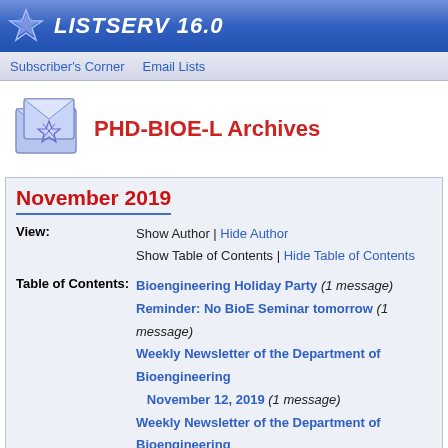LISTSERV 16.0
Subscriber's Corner | Email Lists
PHD-BIOE-L Archives
November 2019
View: Show Author | Hide Author
Show Table of Contents | Hide Table of Contents
Table of Contents: Bioengineering Holiday Party (1 message)
Reminder: No BioE Seminar tomorrow (1 message)
Weekly Newsletter of the Department of Bioengineering November 12, 2019 (1 message)
Weekly Newsletter of the Department of Bioengineering November 19, 2019 (1 message)
Weekly Newsletter of the Department of Bioengineering November 5, 2019 (1 message)
| Subject ▲ | From | Date | S |
| --- | --- | --- | --- |
| Bioengineering Holiday Party |  |  |  |